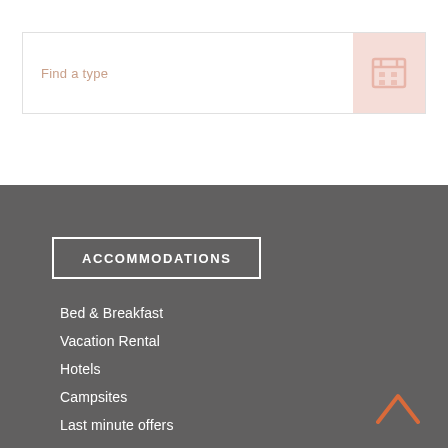Find a type
ACCOMMODATIONS
Bed & Breakfast
Vacation Rental
Hotels
Campsites
Last minute offers